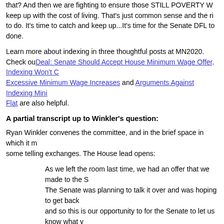that? And then we are fighting to ensure those STILL POVERTY W... keep up with the cost of living. That's just common sense and the ri... to do. It's time to catch and keep up...It's time for the Senate DFL to... done.
Learn more about indexing in three thoughtful posts at MN2020. Check ou... Deal: Senate Should Accept House Minimum Wage Offer. Indexing Won't C... Excessive Minimum Wage Increases and Arguments Against Indexing Mini... Flat are also helpful.
A partial transcript up to Winkler's question:
Ryan Winkler convenes the committee, and in the brief space in which it m... some telling exchanges. The House lead opens:
As we left the room last time, we had an offer that we made to the S... The Senate was planning to talk it over and was hoping to get back... and so this is our opportunity to for the Senate to let us know what y... thinking.
Chris Eaton: Mr. Chair, Senator Tomassoni would like to explain our...
David Tomassoni: I'm not sure that we have enough time, or that we... deal with that. [crosstalk]
Eaton: ---In the meeting last night.
Tomassoni: Oh you don't want me to tell him about everyone in it? [Laughter]
Winkler: Senator Tomassoni.
Tomassoni: Because I'm still trying to understand our caucus, too. M...